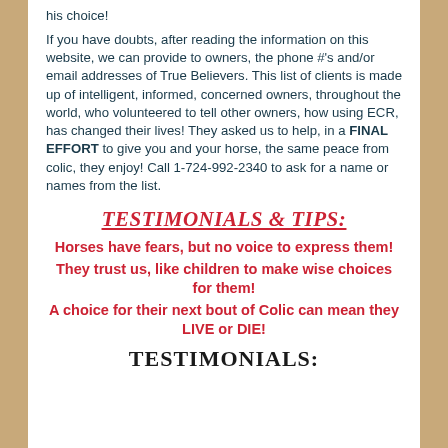his choice!
If you have doubts, after reading the information on this website, we can provide to owners, the phone #'s and/or email addresses of True Believers. This list of clients is made up of intelligent, informed, concerned owners, throughout the world, who volunteered to tell other owners, how using ECR, has changed their lives! They asked us to help, in a FINAL EFFORT to give you and your horse, the same peace from colic, they enjoy! Call 1-724-992-2340 to ask for a name or names from the list.
TESTIMONIALS & TIPS:
Horses have fears, but no voice to express them!
They trust us, like children to make wise choices for them!
A choice for their next bout of Colic can mean they LIVE or DIE!
TESTIMONIALS: